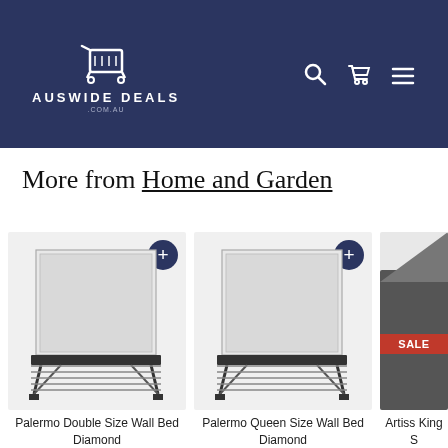[Figure (logo): Auswide Deals logo with shopping cart icon, white text on dark navy background, with search, cart, and menu icons on the right]
More from Home and Garden
[Figure (photo): Product card: Palermo Double Size Wall Bed Diamond with a wall fold-down bed image, plus button]
Palermo Double Size Wall Bed Diamond
[Figure (photo): Product card: Palermo Queen Size Wall Bed Diamond with a wall fold-down bed image, plus button]
Palermo Queen Size Wall Bed Diamond
[Figure (photo): Product card: Artiss King Size bed with SALE badge, partially visible]
Artiss King S